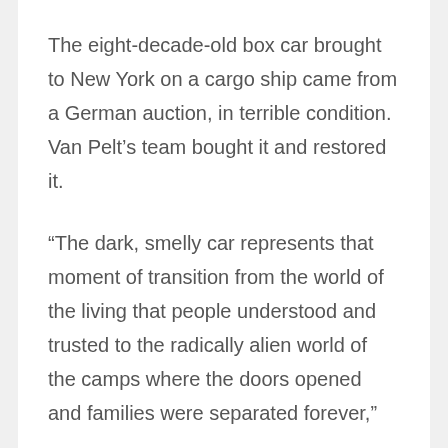The eight-decade-old box car brought to New York on a cargo ship came from a German auction, in terrible condition. Van Pelt's team bought it and restored it.
“The dark, smelly car represents that moment of transition from the world of the living that people understood and trusted to the radically alien world of the camps where the doors opened and families were separated forever,”